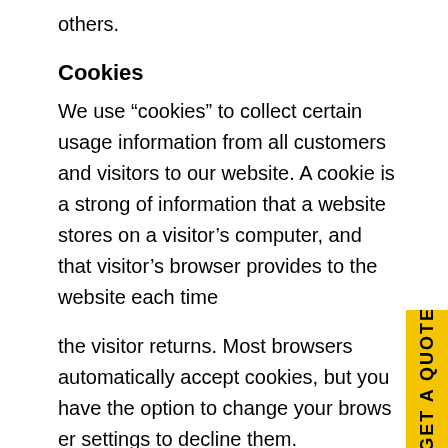others.
Cookies
We use “cookies” to collect certain usage information from all customers and visitors to our website. A cookie is a strong of information that a website stores on a visitor’s computer, and that visitor’s browser provides to the website each time
the visitor returns. Most browsers automatically accept cookies, but you have the option to change your browser settings to decline them.
Accepting cookies in no way gives us access to your computer or any personal information about you, since cookies are not used to identify anonymous website visitors. Our cookies enable you to proceed smoothly through our website and know whether you’ve used it